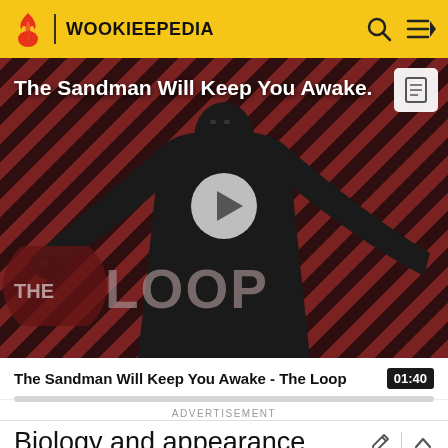WOOKIEEPEDIA
[Figure (screenshot): Video thumbnail for 'The Sandman Will Keep You Awake - The Loop' showing a dark-robed figure against a red diagonal striped background with THE LOOP logo, and a play button in the center]
The Sandman Will Keep You Awake - The Loop   01:40
ADVERTISEMENT
Biology and appearance